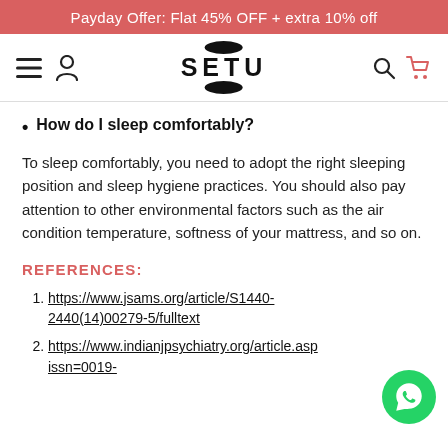Payday Offer: Flat 45% OFF + extra 10% off
[Figure (logo): SETU brand logo with hamburger menu, user icon, search icon, and cart icon in navigation bar]
How do I sleep comfortably?
To sleep comfortably, you need to adopt the right sleeping position and sleep hygiene practices. You should also pay attention to other environmental factors such as the air condition temperature, softness of your mattress, and so on.
REFERENCES:
https://www.jsams.org/article/S1440-2440(14)00279-5/fulltext
https://www.indianjpsychiatry.org/article.asp issn=0019-